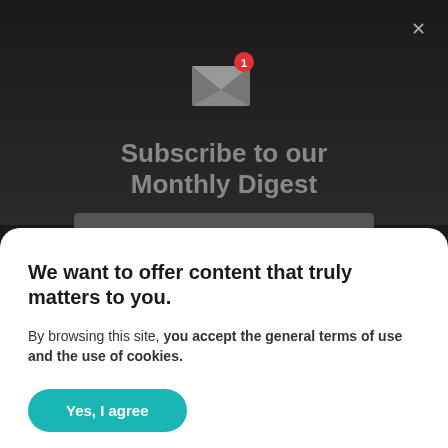[Figure (screenshot): Dark background with email/envelope icon with red badge showing '1', a subscribe to monthly digest modal overlay, and a cookie consent panel at the bottom]
Subscribe to our Monthly Digest
We want to offer content that truly matters to you.
By browsing this site, you accept the general terms of use and the use of cookies.
Yes, I agree
Learn more